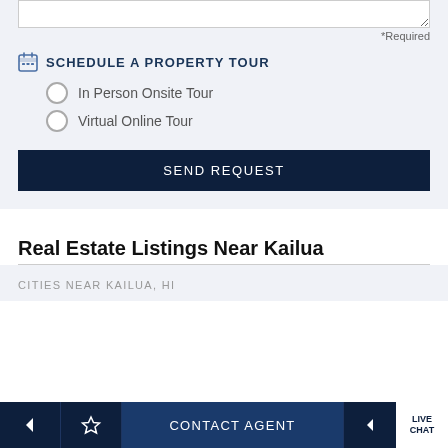*Required
SCHEDULE A PROPERTY TOUR
In Person Onsite Tour
Virtual Online Tour
SEND REQUEST
Real Estate Listings Near Kailua
CITIES NEAR KAILUA, HI
CONTACT AGENT | LIVE CHAT